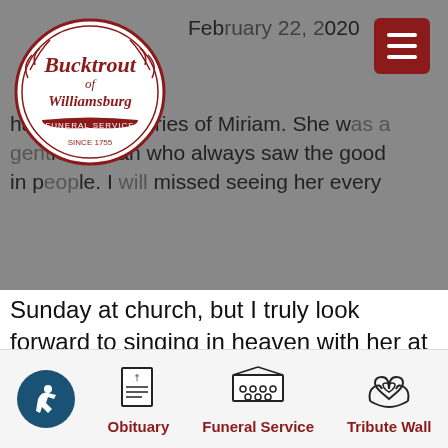[Figure (logo): Bucktrout of Williamsburg Funeral Service logo, circular with decorative border]
February 22, 2020
...has fond memories of Miriam. She was a gentle woman who always saw the good in people. I will missed seeing her every Sunday at church, but I truly look forward to singing in heaven with her at the keyboard again. My love and prayers go out to all who loved Mimi.
February 28, 2020
Bobette Schrandt says:
Aunts have no wands or wings, So they work
[Figure (infographic): Bottom navigation bar with ADA accessibility icon, Obituary icon, Funeral Service icon, and Tribute Wall icon]